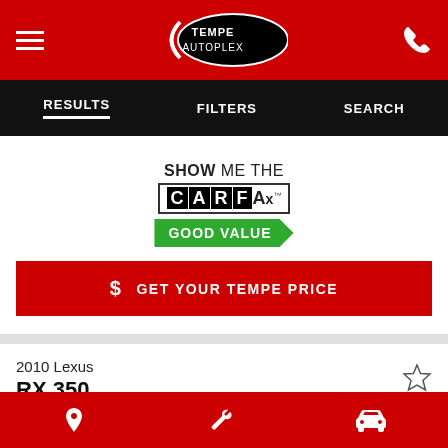[Figure (screenshot): Tempe Autoplex mobile website header with red background, hamburger menu icon, Tempe Autoplex oval logo, and phone icon]
RESULTS   FILTERS   SEARCH
[Figure (logo): Show Me The CARFAX Good Value badge]
$ GET YOUR TEMPE PRICE
2010 Lexus
RX 350
[Figure (photo): 2010 Lexus RX 350 vehicle photo with DRV PNK Arizona license plate]
Location icon, Wrench icon, Car icon